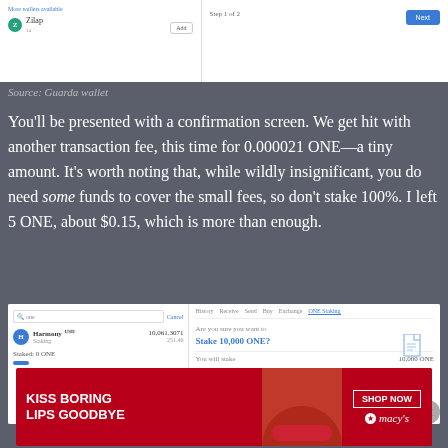[Figure (screenshot): Screenshot of Guarda wallet showing wallet selection UI with 'More wallets available', Zilap option with Add button on left, and step indicator with Next button on right]
Source: Guarda wallet
You'll be presented with a confirmation screen. We get hit with another transaction fee, this time for 0.000021 ONE—a tiny amount. It's worth noting that, while wildly insignificant, you do need some funds to cover the small fees, so don't stake 100%. I left 5 ONE, about $0.15, which is more than enough.
[Figure (screenshot): Screenshot of wallet interface showing Harmony ONE staking confirmation screen with 'Stake 10,000 ONE?' and 'You will stake 10,000 ONE' details]
[Figure (screenshot): Advertisement banner: KISS BORING LIPS GOODBYE with SHOP NOW macys branding]